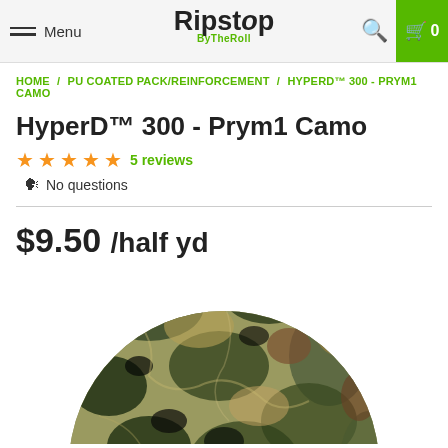Menu | Ripstop ByTheRoll | Search | Cart 0
HOME / PU COATED PACK/REINFORCEMENT / HYPERD™ 300 - PRYM1 CAMO
HyperD™ 300 - Prym1 Camo
★★★★★ 5 reviews
No questions
$9.50 /half yd
[Figure (photo): Circular swatch of HyperD 300 Prym1 Camo fabric showing a camouflage pattern with dark green, olive, tan, brown and black colors in an organic irregular pattern]